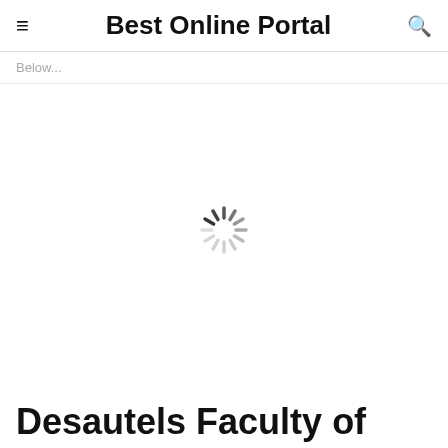Best Online Portal
Below...
[Figure (other): Loading spinner / throbber icon in the center of the page]
Desautels Faculty of